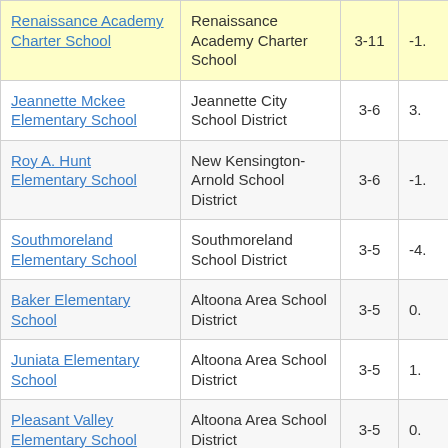| School | District | Grades | Score |
| --- | --- | --- | --- |
| Renaissance Academy Charter School | Renaissance Academy Charter School | 3-11 | -1. |
| Jeannette Mckee Elementary School | Jeannette City School District | 3-6 | 3. |
| Roy A. Hunt Elementary School | New Kensington-Arnold School District | 3-6 | -1. |
| Southmoreland Elementary School | Southmoreland School District | 3-5 | -4. |
| Baker Elementary School | Altoona Area School District | 3-5 | 0. |
| Juniata Elementary School | Altoona Area School District | 3-5 | 1. |
| Pleasant Valley Elementary School | Altoona Area School District | 3-5 | 0. |
| Irving Elementary School | Altoona Area School District | 3-5 | 7 |